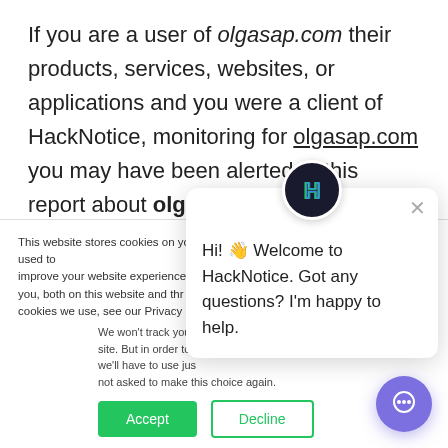If you are a user of olgasap.com their products, services, websites, or applications and you were a client of HackNotice, monitoring for olgasap.com you may have been alerted to this report about olgasap.com . HackNotice is a service that provides data, information, and monitoring that helps our clients recover from and remediate data breaches,
This website stores cookies on your computer. These are used to improve your website experience you, both on this website and through cookies we use, see our Privacy P...
We won't track your site. But in order to d we'll have to use jus not asked to make this choice again.
Hi! 👋 Welcome to HackNotice. Got any questions? I'm happy to help.